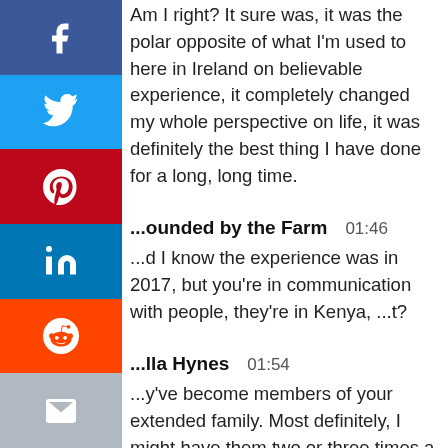Am I right? It sure was, it was the polar opposite of what I'm used to here in Ireland on believable experience, it completely changed my whole perspective on life, it was definitely the best thing I have done for a long, long time.
...ounded by the Farm  01:46
...d I know the experience was in 2017, but you're in communication with people, they're in Kenya, ...t?
...lla Hynes  01:54
...y've become members of your extended family. Most definitely, I might have them two or three times a week, very close to William, he would have been the main arranger in the documentary with me, myself. And Peter actually sponsored him to go to university.